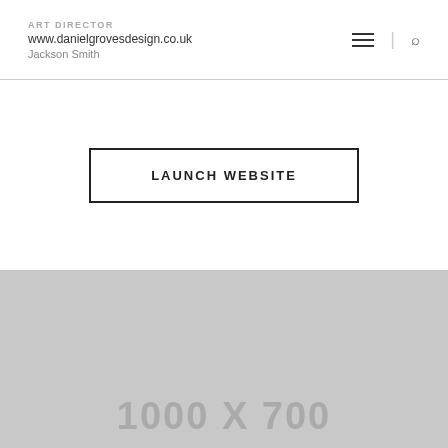ART DIRECTOR www.danielgrovesdesign.co.uk Jackson Smith
LAUNCH WEBSITE
[Figure (other): Gray image placeholder showing dimensions 1000 X 700]